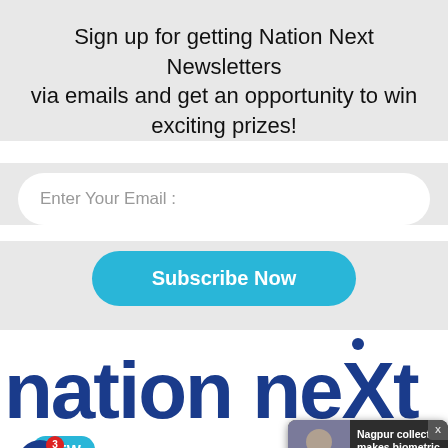Sign up for getting Nation Next Newsletters via emails and get an opportunity to win exciting prizes!
Enter Your Email :
Subscribe Now
[Figure (logo): Nation Next logo in dark blue bold text with a dot above the X]
NEW
Nagpur collector makes biometric attendance
17 hours ago
SHARE
TWEET
...